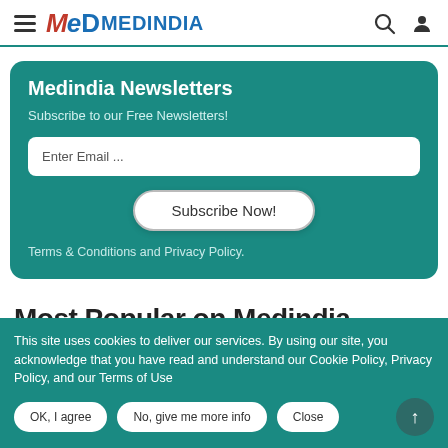MEDINDIA
Medindia Newsletters
Subscribe to our Free Newsletters!
Enter Email ...
Subscribe Now!
Terms & Conditions and Privacy Policy.
This site uses cookies to deliver our services. By using our site, you acknowledge that you have read and understand our Cookie Policy, Privacy Policy, and our Terms of Use
OK, I agree
No, give me more info
Close